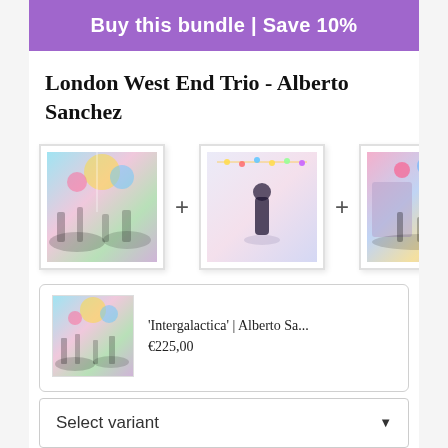Buy this bundle | Save 10%
London West End Trio - Alberto Sanchez
[Figure (illustration): Three framed art prints of London street scenes by Alberto Sanchez, shown with plus signs between them]
'Intergalactica' | Alberto Sa... €225,00
Select variant
'Corazones y Sueños' | Albe... €225,00